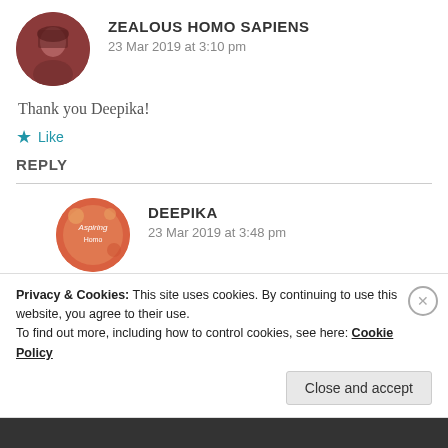ZEALOUS HOMO SAPIENS
23 Mar 2019 at 3:10 pm
Thank you Deepika!
Like
REPLY
DEEPIKA
23 Mar 2019 at 3:48 pm
Privacy & Cookies: This site uses cookies. By continuing to use this website, you agree to their use.
To find out more, including how to control cookies, see here: Cookie Policy
Close and accept